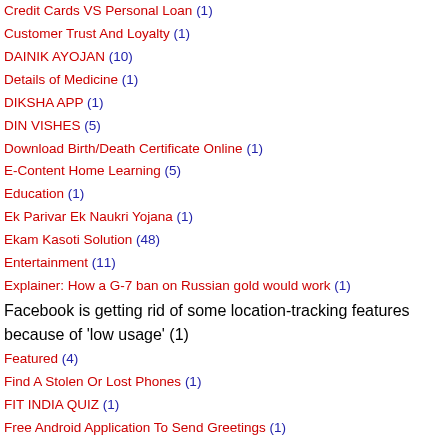Credit Cards VS Personal Loan (1)
Customer Trust And Loyalty (1)
DAINIK AYOJAN (10)
Details of Medicine (1)
DIKSHA APP (1)
DIN VISHES (5)
Download Birth/Death Certificate Online (1)
E-Content Home Learning (5)
Education (1)
Ek Parivar Ek Naukri Yojana (1)
Ekam Kasoti Solution (48)
Entertainment (11)
Explainer: How a G-7 ban on Russian gold would work (1)
Facebook is getting rid of some location-tracking features because of 'low usage' (1)
Featured (4)
Find A Stolen Or Lost Phones (1)
FIT INDIA QUIZ (1)
Free Android Application To Send Greetings (1)